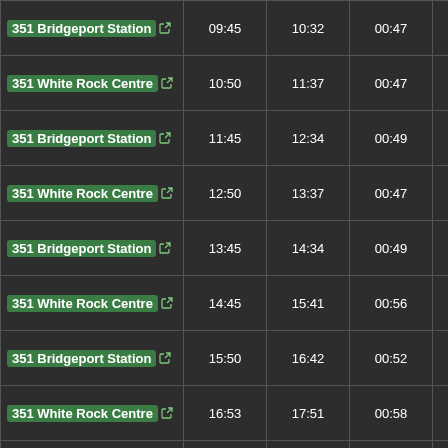| Route | Depart | Arrive | Duration | Schedule |
| --- | --- | --- | --- | --- |
| 351 Bridgeport Station | 09:45 | 10:32 | 00:47 | MTuWThF (6/27-9/04) -7/01 -8/01 |
| 351 White Rock Centre | 10:50 | 11:37 | 00:47 | MTuWThF (6/27-9/04) -7/01 -8/01 |
| 351 Bridgeport Station | 11:45 | 12:34 | 00:49 | MTuWThF (6/27-9/04) -7/01 -8/01 |
| 351 White Rock Centre | 12:50 | 13:37 | 00:47 | MTuWThF (6/27-9/04) -7/01 -8/01 |
| 351 Bridgeport Station | 13:45 | 14:34 | 00:49 | MTuWThF (6/27-9/04) -7/01 -8/01 |
| 351 White Rock Centre | 14:45 | 15:41 | 00:56 | MTuWThF (6/27-9/04) -7/01 -8/01 |
| 351 Bridgeport Station | 15:50 | 16:42 | 00:52 | MTuWThF (6/27-9/04) -7/01 -8/01 |
| 351 White Rock Centre | 16:53 | 17:51 | 00:58 | MTuWThF (6/27-9/04) -7/01 -8/01 |
| 351 Bridgeport Station | 18:02 | 18:48 | 00:46 | MTuWThF (6/27-9/04) -7/01 -8/01 |
| 311 Scottsdale | 19:05 | 19:40 | 00:35 | MTuWThF (6/27-9/04) -7/01 -8/01 |